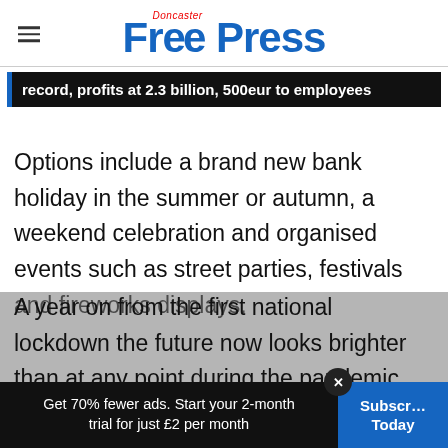Doncaster Free Press
record, profits at 2.3 billion, 500eur to employees
Options include a brand new bank holiday in the summer or autumn, a weekend celebration and organised events such as street parties, festivals and fireworks displays.
A year on from the first national lockdown the future now looks brighter than at any point during the pandemic.
Get 70% fewer ads. Start your 2-month trial for just £2 per month  Subscribe Today